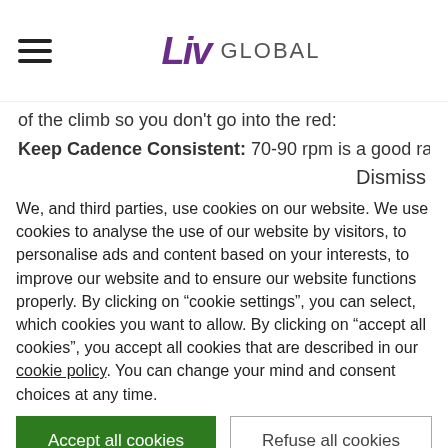Liv GLOBAL
of the climb so you don't go into the red:
Keep Cadence Consistent: 70-90 rpm is a good range to
Dismiss
We, and third parties, use cookies on our website. We use cookies to analyse the use of our website by visitors, to personalise ads and content based on your interests, to improve our website and to ensure our website functions properly. By clicking on “cookie settings”, you can select, which cookies you want to allow. By clicking on “accept all cookies”, you accept all cookies that are described in our cookie policy. You can change your mind and consent choices at any time.
Accept all cookies
Refuse all cookies
Cookie settings